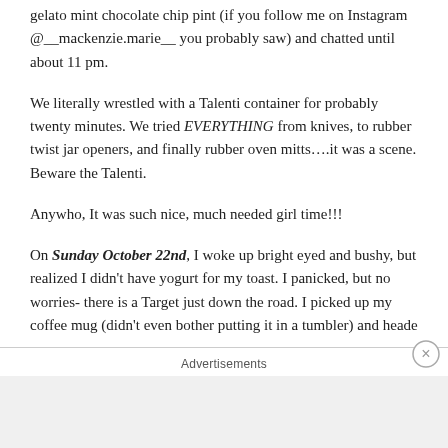gelato mint chocolate chip pint (if you follow me on Instagram @__mackenzie.marie__ you probably saw) and chatted until about 11 pm.
We literally wrestled with a Talenti container for probably twenty minutes. We tried EVERYTHING from knives, to rubber twist jar openers, and finally rubber oven mitts….it was a scene. Beware the Talenti.
Anywho, It was such nice, much needed girl time!!!
On Sunday October 22nd, I woke up bright eyed and bushy, but realized I didn't have yogurt for my toast. I panicked, but no worries- there is a Target just down the road. I picked up my coffee mug (didn't even bother putting it in a tumbler) and heade
Advertisements